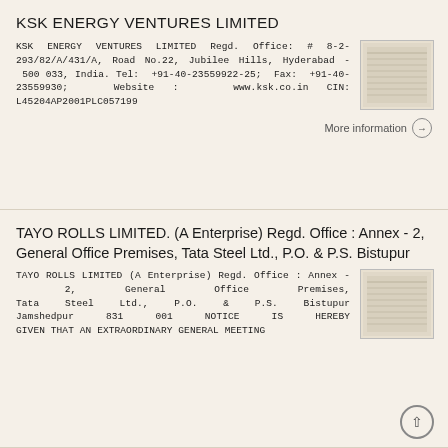KSK ENERGY VENTURES LIMITED
KSK ENERGY VENTURES LIMITED Regd. Office: # 8-2-293/82/A/431/A, Road No.22, Jubilee Hills, Hyderabad - 500 033, India. Tel: +91-40-23559922-25; Fax: +91-40-23559930; Website : www.ksk.co.in CIN: L45204AP2001PLC057199
More information →
TAYO ROLLS LIMITED. (A Enterprise) Regd. Office : Annex - 2, General Office Premises, Tata Steel Ltd., P.O. & P.S. Bistupur
TAYO ROLLS LIMITED (A Enterprise) Regd. Office : Annex - 2, General Office Premises, Tata Steel Ltd., P.O. & P.S. Bistupur Jamshedpur 831 001 NOTICE IS HEREBY GIVEN THAT AN EXTRAORDINARY GENERAL MEETING